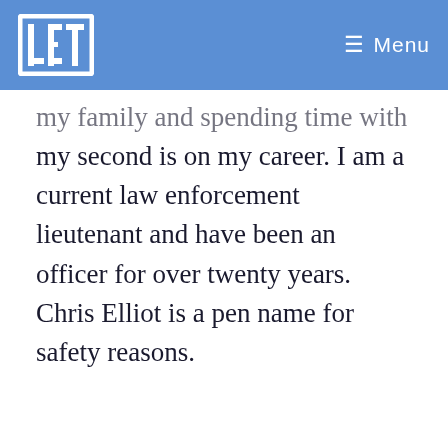LT | Menu
my family and spending time with them, my second is on my career. I am a current law enforcement lieutenant and have been an officer for over twenty years. Chris Elliot is a pen name for safety reasons.
Around the Web
[Figure (logo): Circular sponsor logo (C) with green and dark segments]
[Figure (photo): Partial photo visible at the bottom of the page, skin-toned subject]